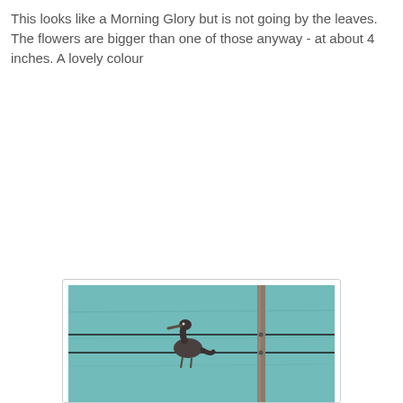This looks like a Morning Glory but is not going by the leaves. The flowers are bigger than one of those anyway - at about 4 inches. A lovely colour
[Figure (photo): A bird (appears to be a heron or similar wading bird) perched on a wire fence or railing near water. The background shows turquoise/teal water. A vertical pole is visible to the right of the bird.]